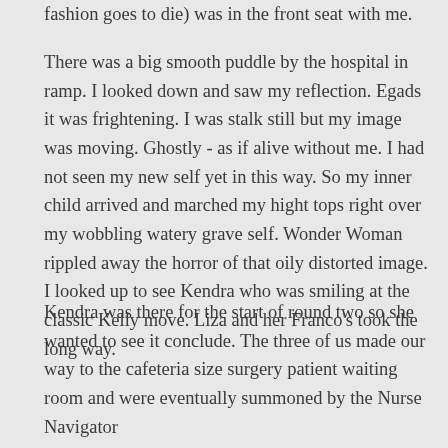fashion goes to die) was in the front seat with me.
There was a big smooth puddle by the hospital in ramp. I looked down and saw my reflection. Egads it was frightening. I was stalk still but my image was moving. Ghostly - as if alive without me. I had not seen my new self yet in this way. So my inner child arrived and marched my hight tops right over my wobbling watery grave self. Wonder Woman rippled away the horror of that oily distorted image. I looked up to see Kendra who was smiling at the classic Kelly move. Liza and her Franco's took the long way.
Kendra was there for the start of round two so she wanted to see it conclude. The three of us made our way to the cafeteria size surgery patient waiting room and were eventually summoned by the Nurse Navigator